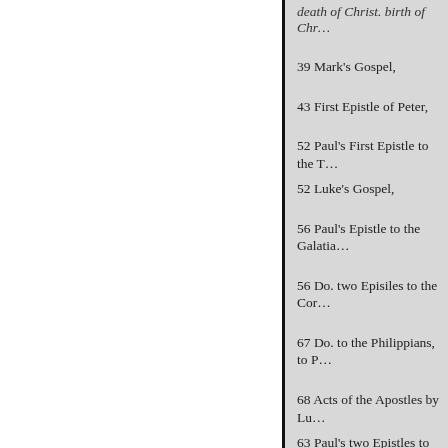death of Christ. birth of Chr…
39 Mark's Gospel,
43 First Epistle of Peter,
52 Paul's First Epistle to the T…
52 Luke's Gospel,
56 Paul's Epistle to the Galatia…
56 Do. two Episiles to the Cor…
67 Do. to the Philippians, to P…
68 Acts of the Apostles by Lu…
63 Paul's two Epistles to Timod…